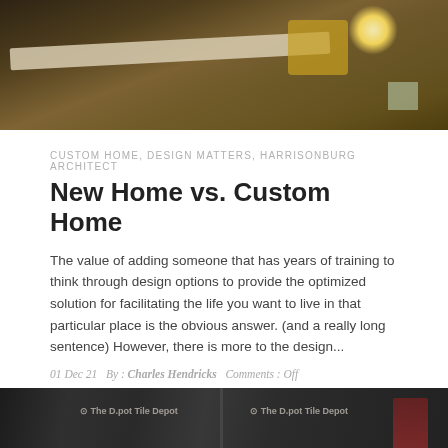[Figure (photo): Outdoor construction site at dusk/dawn with large wooden beam in foreground, yellow construction machine in background, and bright sun/light on the horizon]
CUSTOM HOME, DESIGN MATTERS, HARRISONBURG ARCHITECT
New Home vs. Custom Home
The value of adding someone that has years of training to think through design options to provide the optimized solution for facilitating the life you want to live in that particular place is the obvious answer. (and a really long sentence) However, there is more to the design...
01 Dec 21   By : Charles Hendricks   Comments : Off
[Figure (photo): Close-up of dark bags of tile or construction materials branded 'The D.pot Tile Depot' and 'Gaines Group Architects', shown side by side]